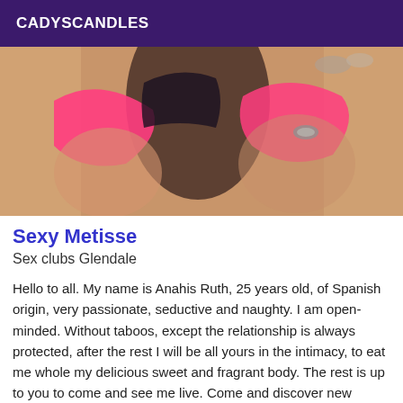CADYSCANDLES
[Figure (photo): Close-up photo of a woman wearing a pink and black bikini top, showing torso area with painted nails visible]
Sexy Metisse
Sex clubs Glendale
Hello to all. My name is Anahis Ruth, 25 years old, of Spanish origin, very passionate, seductive and naughty. I am open-minded. Without taboos, except the relationship is always protected, after the rest I will be all yours in the intimacy, to eat me whole my delicious sweet and fragrant body. The rest is up to you to come and see me live. Come and discover new sensations,